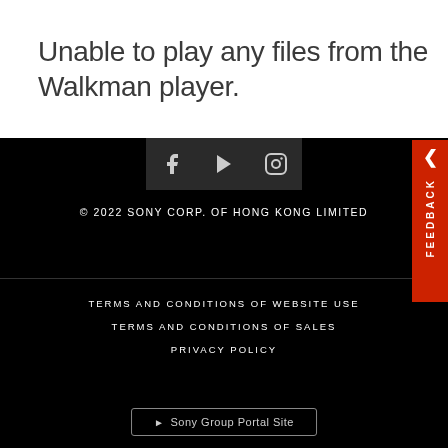Unable to play any files from the Walkman player.
[Figure (screenshot): Social media icons strip: Facebook, YouTube (play button), Instagram on dark background]
© 2022 SONY CORP. OF HONG KONG LIMITED
TERMS AND CONDITIONS OF WEBSITE USE
TERMS AND CONDITIONS OF SALES
PRIVACY POLICY
► Sony Group Portal Site
FEEDBACK